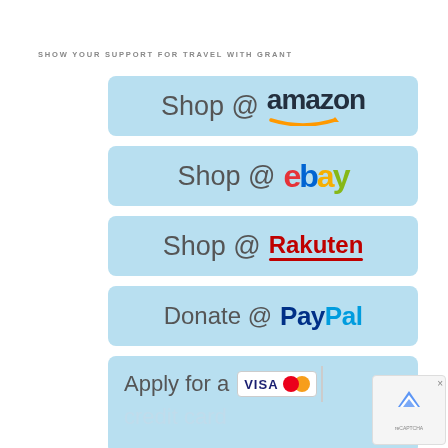SHOW YOUR SUPPORT FOR TRAVEL WITH GRANT
[Figure (infographic): Shop @ amazon button (light blue rounded rectangle with 'Shop @' in gray and 'amazon' in dark with orange arrow logo)]
[Figure (infographic): Shop @ ebay button (light blue rounded rectangle with 'Shop @' in gray and 'ebay' in multicolor logo)]
[Figure (infographic): Shop @ Rakuten button (light blue rounded rectangle with 'Shop @' in gray and 'Rakuten' in red with underline)]
[Figure (infographic): Donate @ PayPal button (light blue rounded rectangle with 'Donate @' in gray and 'PayPal' in blue two-tone)]
[Figure (infographic): Apply for a credit card button (light blue rounded rectangle with Visa, Mastercard, Discover, Amex logos visible, partially cut off at bottom)]